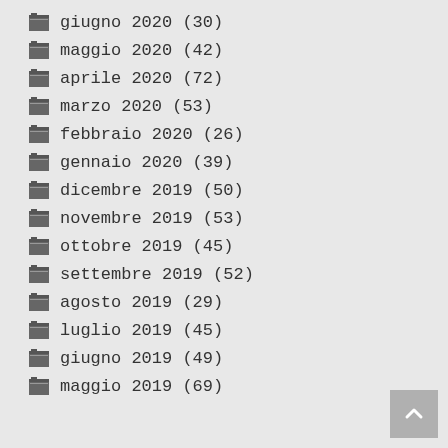giugno 2020 (30)
maggio 2020 (42)
aprile 2020 (72)
marzo 2020 (53)
febbraio 2020 (26)
gennaio 2020 (39)
dicembre 2019 (50)
novembre 2019 (53)
ottobre 2019 (45)
settembre 2019 (52)
agosto 2019 (29)
luglio 2019 (45)
giugno 2019 (49)
maggio 2019 (69)